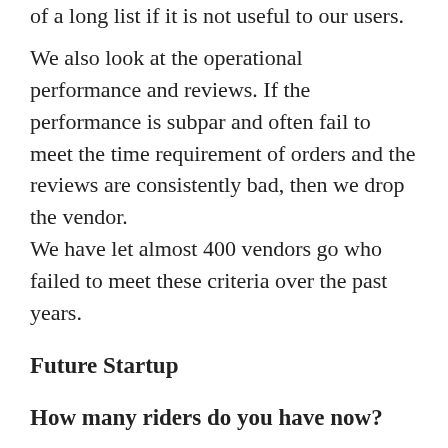of a long list if it is not useful to our users.
We also look at the operational performance and reviews. If the performance is subpar and often fail to meet the time requirement of orders and the reviews are consistently bad, then we drop the vendor.
We have let almost 400 vendors go who failed to meet these criteria over the past years.
Future Startup
How many riders do you have now?
How do you manage riders?